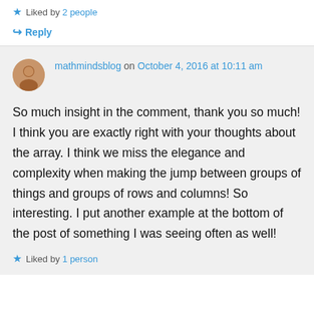★ Liked by 2 people
↪ Reply
mathmindsblog on October 4, 2016 at 10:11 am
So much insight in the comment, thank you so much! I think you are exactly right with your thoughts about the array. I think we miss the elegance and complexity when making the jump between groups of things and groups of rows and columns! So interesting. I put another example at the bottom of the post of something I was seeing often as well!
★ Liked by 1 person